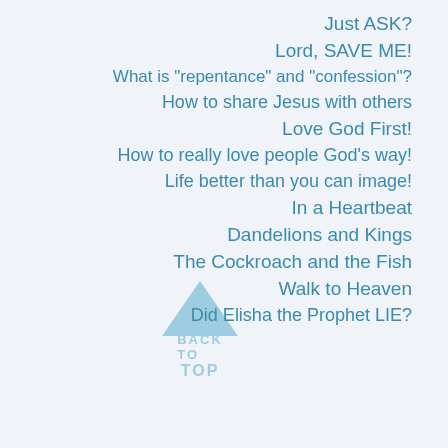Just ASK?
Lord, SAVE ME!
What is "repentance" and "confession"?
How to share Jesus with others
Love God First!
How to really love people God's way!
Life better than you can image!
In a Heartbeat
Dandelions and Kings
The Cockroach and the Fish
Walk to Heaven
Did Elisha the Prophet LIE?